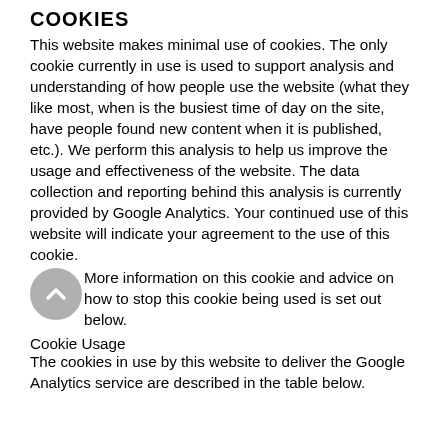COOKIES
This website makes minimal use of cookies. The only cookie currently in use is used to support analysis and understanding of how people use the website (what they like most, when is the busiest time of day on the site, have people found new content when it is published, etc.). We perform this analysis to help us improve the usage and effectiveness of the website. The data collection and reporting behind this analysis is currently provided by Google Analytics. Your continued use of this website will indicate your agreement to the use of this cookie. More information on this cookie and advice on how to stop this cookie being used is set out below.
Cookie Usage
The cookies in use by this website to deliver the Google Analytics service are described in the table below.